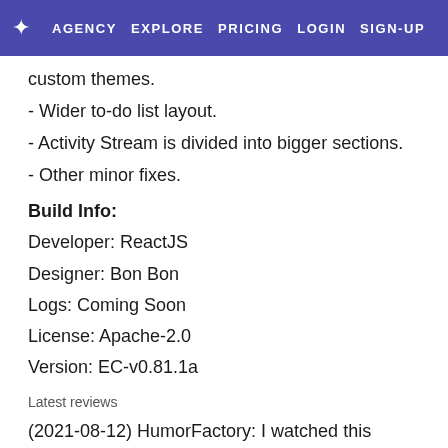★ AGENCY  EXPLORE  PRICING  LOGIN  SIGN-UP
custom themes.
- Wider to-do list layout.
- Activity Stream is divided into bigger sections.
- Other minor fixes.
Build Info:
Developer: ReactJS
Designer: Bon Bon
Logs: Coming Soon
License: Apache-2.0
Version: EC-v0.81.1a
Latest reviews
(2021-08-12) HumorFactory: I watched this extension grow, and I did with it. Looking good so far can't wait for more!